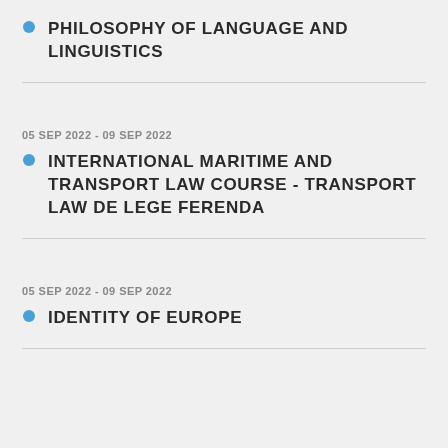PHILOSOPHY OF LANGUAGE AND LINGUISTICS
05 SEP 2022 - 09 SEP 2022
INTERNATIONAL MARITIME AND TRANSPORT LAW COURSE - TRANSPORT LAW DE LEGE FERENDA
05 SEP 2022 - 09 SEP 2022
IDENTITY OF EUROPE